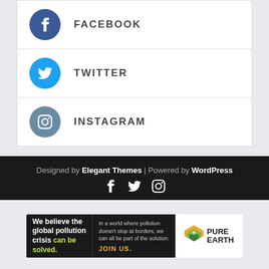FACEBOOK
TWITTER
INSTAGRAM
Designed by Elegant Themes | Powered by WordPress
[Figure (infographic): Pure Earth advertisement banner: We believe the global pollution crisis can be solved. In a world where pollution doesn't stop at borders, we can all be part of the solution. JOIN US.]